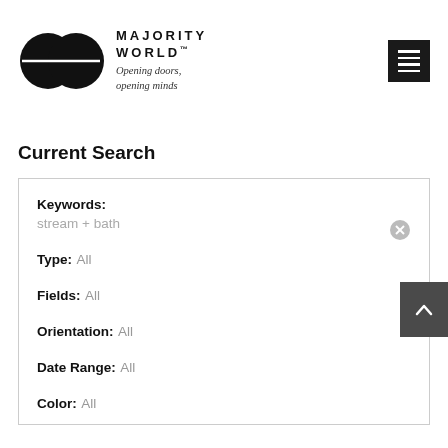[Figure (logo): Majority World logo: two overlapping black circles with a horizontal white line through the center, next to bold spaced text 'MAJORITY WORLD' with trademark symbol and italic tagline 'Opening doors, opening minds']
[Figure (other): Dark square menu button with three horizontal white lines (hamburger menu icon)]
Current Search
Keywords: stream + bath
Type: All
Fields: All
Orientation: All
Date Range: All
Color: All